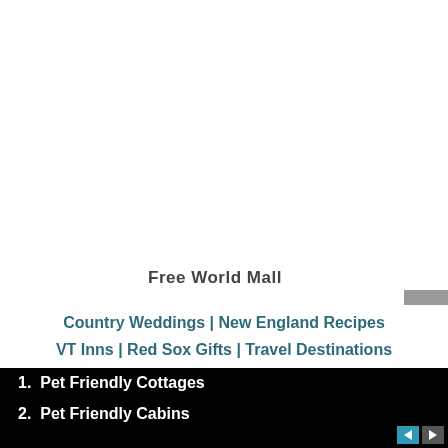Free World Mall
Country Weddings | New England Recipes VT Inns | Red Sox Gifts | Travel Destinations
1.  Pet Friendly Cottages
2.  Pet Friendly Cabins